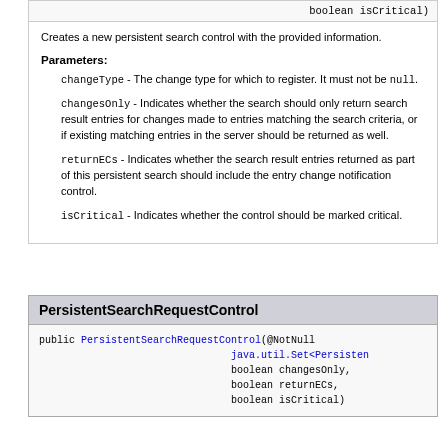boolean isCritical)
Creates a new persistent search control with the provided information.
Parameters:
changeType - The change type for which to register. It must not be null.
changesOnly - Indicates whether the search should only return search result entries for changes made to entries matching the search criteria, or if existing matching entries in the server should be returned as well.
returnECs - Indicates whether the search result entries returned as part of this persistent search should include the entry change notification control.
isCritical - Indicates whether the control should be marked critical.
PersistentSearchRequestControl
public PersistentSearchRequestControl(@NotNull
                                java.util.Set<Persisten
                                boolean changesOnly,
                                boolean returnECs,
                                boolean isCritical)